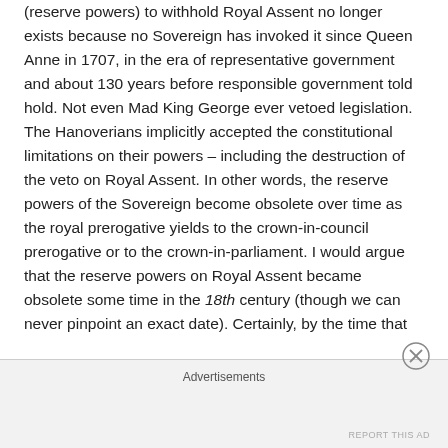(reserve powers) to withhold Royal Assent no longer exists because no Sovereign has invoked it since Queen Anne in 1707, in the era of representative government and about 130 years before responsible government told hold. Not even Mad King George ever vetoed legislation. The Hanoverians implicitly accepted the constitutional limitations on their powers – including the destruction of the veto on Royal Assent. In other words, the reserve powers of the Sovereign become obsolete over time as the royal prerogative yields to the crown-in-council prerogative or to the crown-in-parliament. I would argue that the reserve powers on Royal Assent became obsolete some time in the 18th century (though we can never pinpoint an exact date). Certainly, by the time that
Advertisements